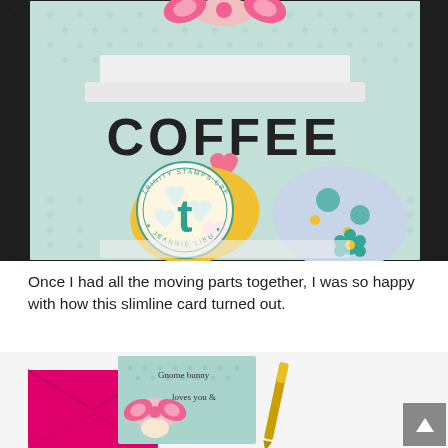[Figure (photo): Close-up photo of a handmade Easter/spring slimline card featuring a coffee cup with 'COFFEE' text, decorated Easter eggs, pink hearts, a gnome bunny peeking over the top, on a mint green polka-dot background. A Trinity Stamps Creative Team watermark stamp by Jeannie Lieu is visible in the lower left.]
Once I had all the moving parts together, I was so happy with how this slimline card turned out.
[Figure (photo): Photo showing a completed gnome bunny slimline card with a hot pink envelope beside it and a gold pen. The card reads 'Gnome bunny loves you &' with a pink bunny gnome character on a mint polka-dot background.]